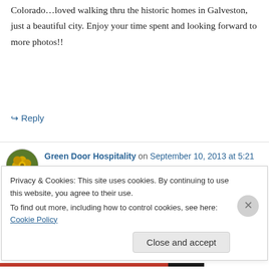Colorado…loved walking thru the historic homes in Galveston, just a beautiful city. Enjoy your time spent and looking forward to more photos!!
↪ Reply
Green Door Hospitality on September 10, 2013 at 5:21 pm
Happy 17th Anniversary!! 🙂 How wonderful! Galveston is a place that we haven't visited yet (I
Privacy & Cookies: This site uses cookies. By continuing to use this website, you agree to their use.
To find out more, including how to control cookies, see here: Cookie Policy
Close and accept